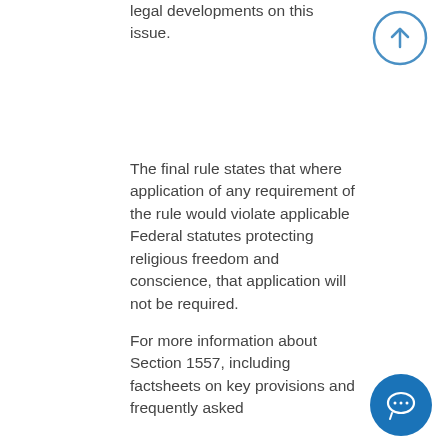legal developments on this issue.
[Figure (illustration): Blue circle with upward arrow icon (scroll to top button)]
The final rule states that where application of any requirement of the rule would violate applicable Federal statutes protecting religious freedom and conscience, that application will not be required.
For more information about Section 1557, including factsheets on key provisions and frequently asked
[Figure (illustration): Solid blue circle with white speech bubble / chat icon]